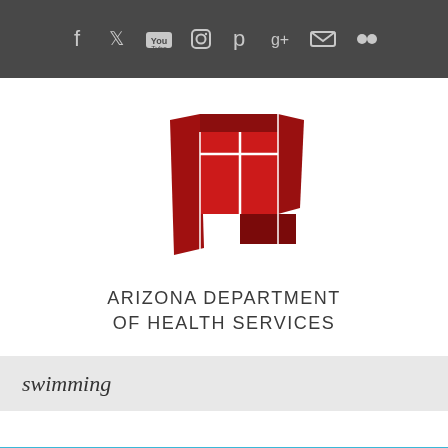Social media icons: Facebook, Twitter, YouTube, Instagram, Pinterest, Google+, Email, Flickr
[Figure (logo): Arizona Department of Health Services logo - red geometric shapes forming an abstract figure resembling the state of Arizona]
ARIZONA DEPARTMENT OF HEALTH SERVICES
swimming
[Figure (photo): Swimming pool water, blue with light reflections, with a white rectangular overlay in the center]